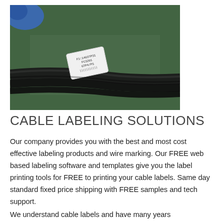[Figure (photo): Close-up photograph of black cables with a white label attached, against a dark green surface. A gloved hand is visible in the upper left corner. The label contains printed text/barcode information.]
CABLE LABELING SOLUTIONS
Our company provides you with the best and most cost effective labeling products and wire marking. Our FREE web based labeling software and templates give you the label printing tools for FREE to printing your cable labels. Same day standard fixed price shipping with FREE samples and tech support.
We understand cable labels and have many years